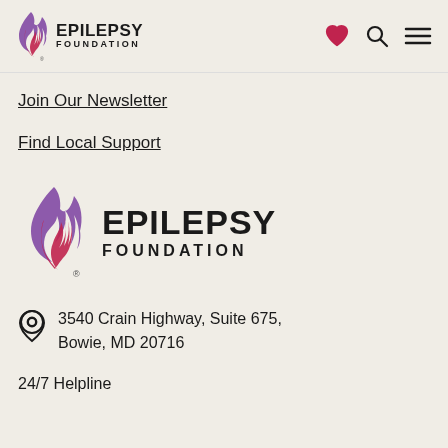[Figure (logo): Epilepsy Foundation logo in header navigation bar with flame/ribbon icon and bold text EPILEPSY FOUNDATION, plus heart, search, and menu icons on the right]
Join Our Newsletter
Find Local Support
[Figure (logo): Large Epilepsy Foundation logo with flame/ribbon icon and bold text EPILEPSY FOUNDATION]
3540 Crain Highway, Suite 675, Bowie, MD 20716
24/7 Helpline